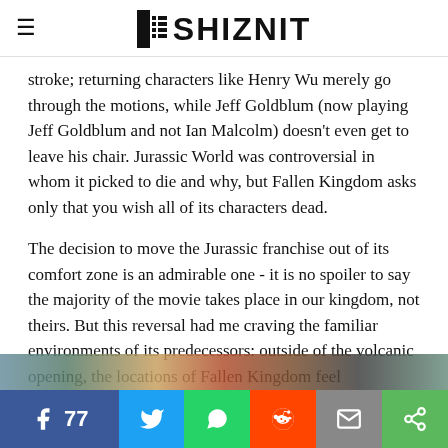THE SHIZNIT
stroke; returning characters like Henry Wu merely go through the motions, while Jeff Goldblum (now playing Jeff Goldblum and not Ian Malcolm) doesn't even get to leave his chair. Jurassic World was controversial in whom it picked to die and why, but Fallen Kingdom asks only that you wish all of its characters dead.
The decision to move the Jurassic franchise out of its comfort zone is an admirable one - it is no spoiler to say the majority of the movie takes place in our kingdom, not theirs. But this reversal had me craving the familiar environments of its predecessors: outside of the volcanic opening, the locations of Fallen Kingdom feel claustrophobic and flat, and they never feel conducive to the thrills and/or spills director J.A. Bayona is aiming for. (Here's a good rule of thumb: T-Rex on a tropical island = majestic, T-Rex in a car park = not so much).
[Figure (other): Social share bar with Facebook (77 shares), Twitter, WhatsApp, Reddit, Email, and Share buttons at the bottom of the page, with a partial image strip above it.]